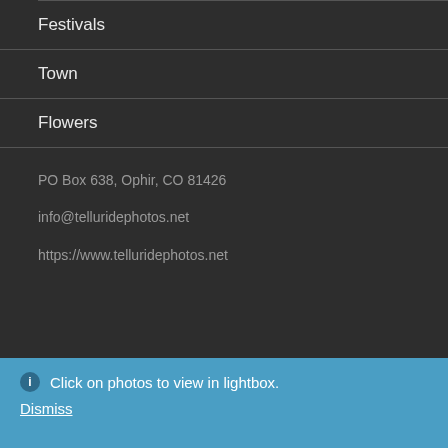Festivals
Town
Flowers
PO Box 638, Ophir, CO 81426
info@telluridephotos.net
https://www.telluridephotos.net
Click on photos to view in lightbox. Dismiss